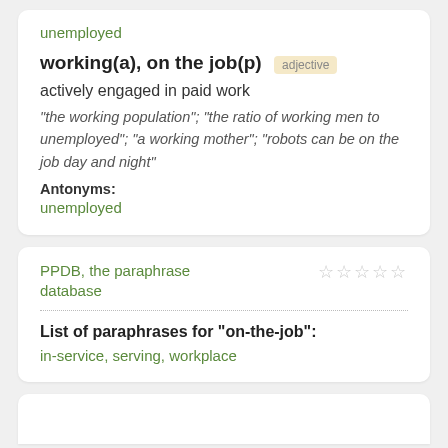unemployed
working(a), on the job(p)
adjective
actively engaged in paid work
"the working population"; "the ratio of working men to unemployed"; "a working mother"; "robots can be on the job day and night"
Antonyms:
unemployed
PPDB, the paraphrase database
List of paraphrases for "on-the-job":
in-service, serving, workplace